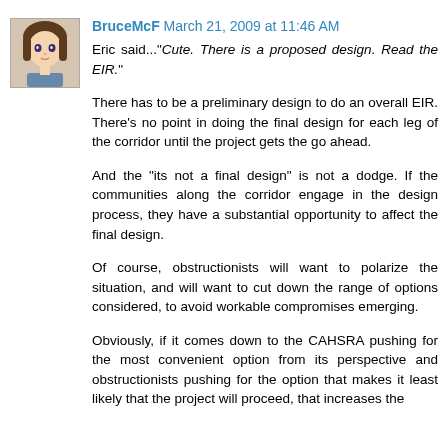[Figure (illustration): Small anime-style avatar image of a person, roughly 68x68 pixels, brown/warm tones]
BruceMcF March 21, 2009 at 11:46 AM
Eric said..."Cute. There is a proposed design. Read the EIR."
There has to be a preliminary design to do an overall EIR. There's no point in doing the final design for each leg of the corridor until the project gets the go ahead.
And the "its not a final design" is not a dodge. If the communities along the corridor engage in the design process, they have a substantial opportunity to affect the final design.
Of course, obstructionists will want to polarize the situation, and will want to cut down the range of options considered, to avoid workable compromises emerging.
Obviously, if it comes down to the CAHSRA pushing for the most convenient option from its perspective and obstructionists pushing for the option that makes it least likely that the project will proceed, that increases the